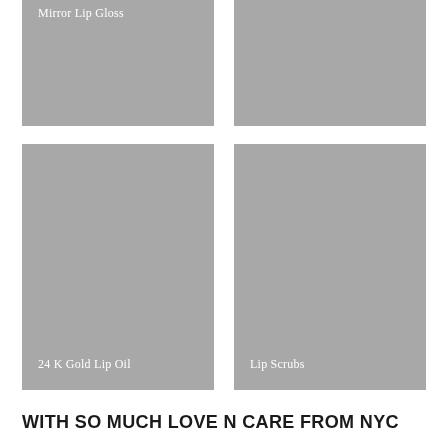[Figure (photo): Product tile with gray placeholder image labeled 'Mirror Lip Gloss' in white serif text at top-left]
[Figure (photo): Product tile with gray placeholder image, partially cut off at top-right]
[Figure (photo): Product tile with gray placeholder image labeled '24 K Gold Lip Oil' in white serif text at bottom-left]
[Figure (photo): Product tile with gray placeholder image labeled 'Lip Scrubs' in white serif text at bottom-right]
WITH SO MUCH LOVE N CARE FROM NYC
Our Brand is born , in NY– the land of Fashion, Makeup and Beauty...